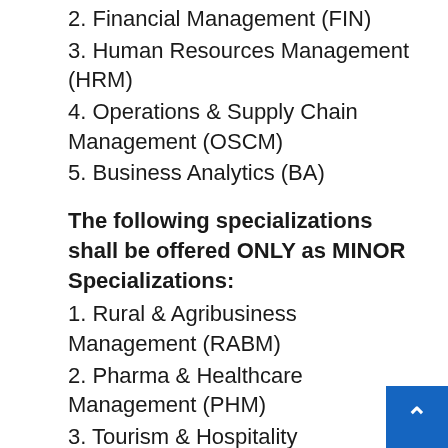2. Financial Management (FIN)
3. Human Resources Management (HRM)
4. Operations & Supply Chain Management (OSCM)
5. Business Analytics (BA)
The following specializations shall be offered ONLY as MINOR Specializations:
1. Rural & Agribusiness Management (RABM)
2. Pharma & Healthcare Management (PHM)
3. Tourism & Hospitality Management (THM)
Note:
1.   Institutes may offer ONLY SELECT specializations based on industry need faculty strength & resources, industry-oriented